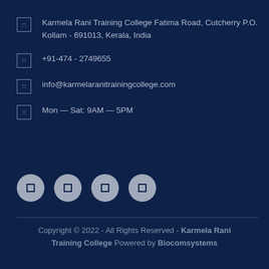Karmela Rani Training College Fatima Road, Cutcherry P.O. Kollam - 691013, Kerala, India
+91-474 - 2749655
info@karmelaranitrainingcollege.com
Mon — Sat: 9AM — 5PM
[Figure (infographic): Four social media icon circles in grey/silver color arranged horizontally]
Copyright © 2022 - All Rights Reserved - Karmela Rani Training College Powered by Biocomsystems